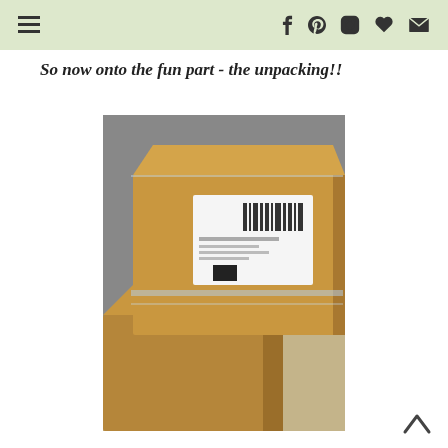navigation header with menu and social icons
So now onto the fun part - the unpacking!!
[Figure (photo): Two brown cardboard boxes wrapped in brown paper with a shipping label, stacked on a carpeted floor against a gray background.]